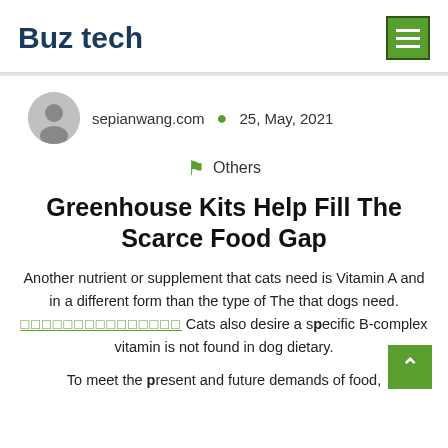Buz tech
sepianwang.com • 25, May, 2021
Others
Greenhouse Kits Help Fill The Scarce Food Gap
Another nutrient or supplement that cats need is Vitamin A and in a different form than the type of The that dogs need. □□□□□□□□□□□□□□□ Cats also desire a specific B-complex vitamin is not found in dog dietary.
To meet the present and future demands of food,